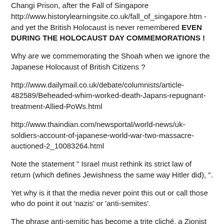Changi Prison, after the Fall of Singapore http://www.historylearningsite.co.uk/fall_of_singapore.htm - and yet the British Holocaust is never remembered EVEN DURING THE HOLOCAUST DAY COMMEMORATIONS !
Why are we commemorating the Shoah when we ignore the Japanese Holocaust of British Citizens ?
http://www.dailymail.co.uk/debate/columnists/article-482589/Beheaded-whim-worked-death-Japans-repugnant-treatment-Allied-PoWs.html
http://www.thaindian.com/newsportal/world-news/uk-soldiers-account-of-japanese-world-war-two-massacre-auctioned-2_10083264.html
Note the statement " Israel must rethink its strict law of return (which defines Jewishness the same way Hitler did), ".
Yet why is it that the media never point this out or call those who do point it out 'nazis' or 'anti-semites'.
The phrase anti-semitic has become a trite cliché, a Zionist